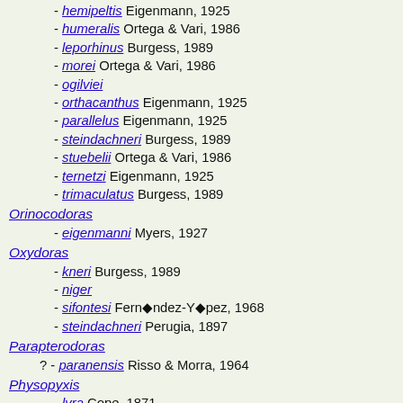- hemipeltis Eigenmann, 1925
- humeralis Ortega & Vari, 1986
- leporhinus Burgess, 1989
- morei Ortega & Vari, 1986
- ogilviei
- orthacanthus Eigenmann, 1925
- parallelus Eigenmann, 1925
- steindachneri Burgess, 1989
- stuebelii Ortega & Vari, 1986
- ternetzi Eigenmann, 1925
- trimaculatus Burgess, 1989
Orinocodoras
- eigenmanni Myers, 1927
Oxydoras
- kneri Burgess, 1989
- niger
- sifontesi Fernández-Yépez, 1968
- steindachneri Perugia, 1897
Parapterodoras
? - paranensis Risso & Morra, 1964
Physopyxis
- lyra Cope, 1871
Platydoras
- armatulus Burgess, 1989
- costatus Bleeker, 1862